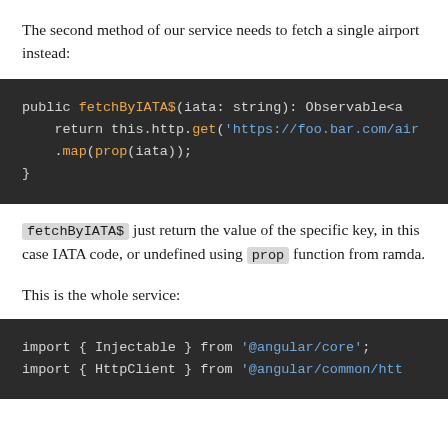The second method of our service needs to fetch a single airport instead:
[Figure (screenshot): Code block on dark background showing: public fetchByIATA$(iata: string): Observable<a   return this.http.get('https://foo.bar.com/air   .map(prop(iata)); }]
fetchByIATA$ just return the value of the specific key, in this case IATA code, or undefined using prop function from ramda.
This is the whole service:
[Figure (screenshot): Code block on dark background showing: import { Injectable } from '@angular/core'; import { HttpClient } from '@angular/common/htt]